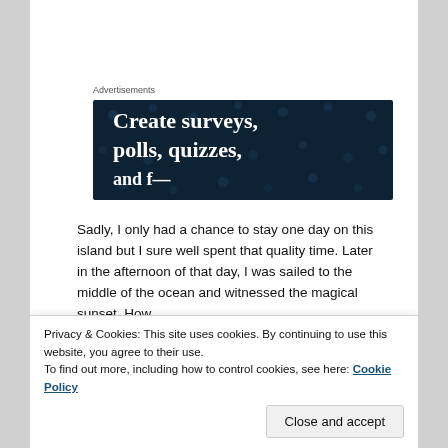Advertisements
[Figure (screenshot): Advertisement banner with dark navy background and dot pattern. White bold serif text reads: 'Create surveys, polls, quizzes,' and partially cut-off line below.]
Sadly, I only had a chance to stay one day on this island but I sure well spent that quality time. Later in the afternoon of that day, I was sailed to the middle of the ocean and witnessed the magical sunset. How
Privacy & Cookies: This site uses cookies. By continuing to use this website, you agree to their use.
To find out more, including how to control cookies, see here: Cookie Policy
Believe it or not, it was still not the highlight of my day.